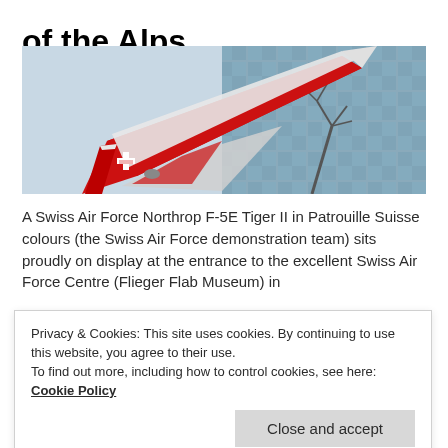of the Alps
[Figure (photo): A Swiss Air Force Northrop F-5E Tiger II jet in red and white Patrouille Suisse colours displayed outdoors in front of a glass building, photographed from below at an angle pointing upward.]
A Swiss Air Force Northrop F-5E Tiger II in Patrouille Suisse colours (the Swiss Air Force demonstration team) sits proudly on display at the entrance to the excellent Swiss Air Force Centre (Flieger Flab Museum) in
Privacy & Cookies: This site uses cookies. By continuing to use this website, you agree to their use.
To find out more, including how to control cookies, see here: Cookie Policy
[Figure (photo): Partial view of another image at the bottom of the page, appears to show a grey/silver textured surface.]